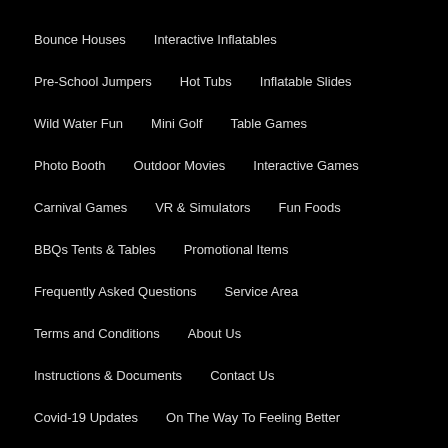Bounce Houses
Interactive Inflatables
Pre-School Jumpers
Hot Tubs
Inflatable Slides
Wild Water Fun
Mini Golf
Table Games
Photo Booth
Outdoor Movies
Interactive Games
Carnival Games
VR & Simulators
Fun Foods
BBQs Tents & Tables
Promotional Items
Frequently Asked Questions
Service Area
Terms and Conditions
About Us
Instructions & Documents
Contact Us
Covid-19 Updates
On The Way To Feeling Better